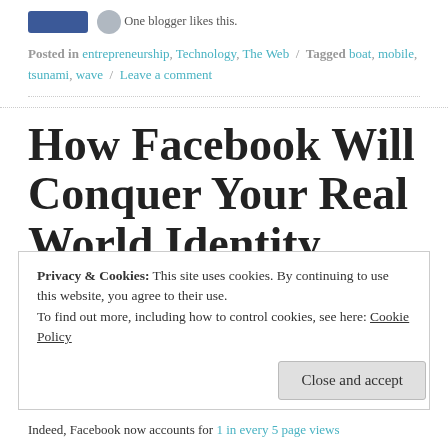One blogger likes this.
Posted in entrepreneurship, Technology, The Web / Tagged boat, mobile, tsunami, wave / Leave a comment
How Facebook Will Conquer Your Real World Identity
Posted on February 6, 2012 by Nick Hughes
Privacy & Cookies: This site uses cookies. By continuing to use this website, you agree to their use.
To find out more, including how to control cookies, see here: Cookie Policy
Close and accept
Indeed, Facebook now accounts for 1 in every 5 page views